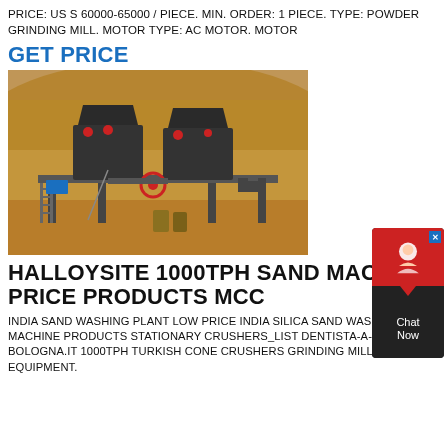PRICE: US S 60000-65000 / PIECE. MIN. ORDER: 1 PIECE. TYPE: POWDER GRINDING MILL. MOTOR TYPE: AC MOTOR. MOTOR
GET PRICE
[Figure (photo): Industrial sand machine / crusher equipment on an elevated platform at an outdoor construction or mining site, with two large black machines visible, set against a background of earthen mounds.]
HALLOYSITE 1000TPH SAND MACHINE PRICE PRODUCTS MCC
INDIA SAND WASHING PLANT LOW PRICE INDIA SILICA SAND WASHING MACHINE PRODUCTS STATIONARY CRUSHERS_LIST DENTISTA-A-BOLOGNA.IT 1000TPH TURKISH CONE CRUSHERS GRINDING MILL EQUIPMENT.